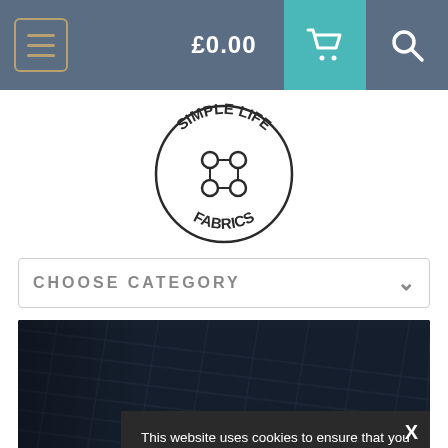£0.00
[Figure (logo): Simple Life Fabrics circular logo with scissors icon in the center]
CHOOSE CATEGORY
[Figure (photo): Dark navy blue fabric texture close-up photograph]
This website uses cookies to ensure that you get the best experience on our website. Read our privacy policy.
I accept